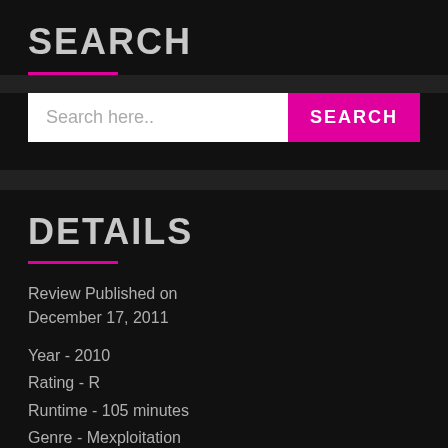SEARCH
Search here..
DETAILS
Review Published on December 17, 2011
Year - 2010
Rating - R
Runtime - 105 minutes
Genre - Mexploitation